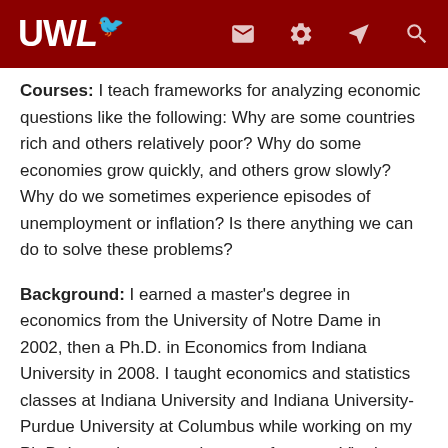UWL (logo with navigation icons)
Courses: I teach frameworks for analyzing economic questions like the following: Why are some countries rich and others relatively poor? Why do some economies grow quickly, and others grow slowly? Why do we sometimes experience episodes of unemployment or inflation? Is there anything we can do to solve these problems?
Background: I earned a master's degree in economics from the University of Notre Dame in 2002, then a Ph.D. in Economics from Indiana University in 2008. I taught economics and statistics classes at Indiana University and Indiana University-Purdue University at Columbus while working on my Ph.D. I was then an assistant professor at Viterbo University in La Crosse for a year before coming to UWL.